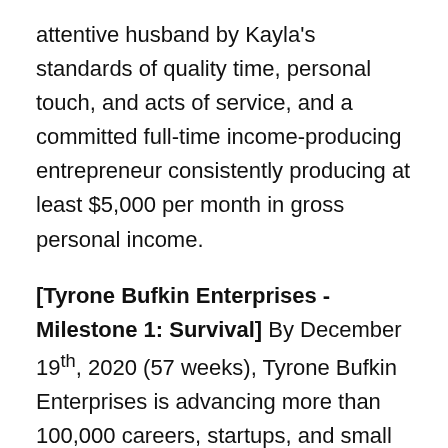attentive husband by Kayla's standards of quality time, personal touch, and acts of service, and a committed full-time income-producing entrepreneur consistently producing at least $5,000 per month in gross personal income.
[Tyrone Bufkin Enterprises - Milestone 1: Survival] By December 19th, 2020 (57 weeks), Tyrone Bufkin Enterprises is advancing more than 100,000 careers, startups, and small businesses to achieve success, happiness, and passion doing